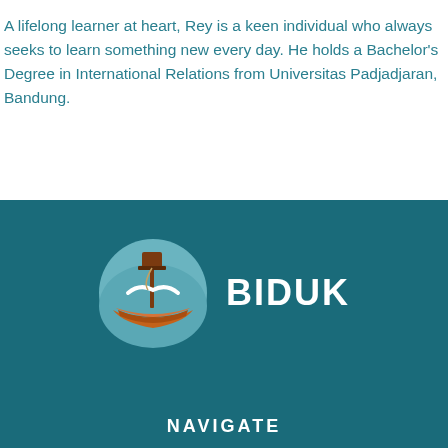A lifelong learner at heart, Rey is a keen individual who always seeks to learn something new every day. He holds a Bachelor's Degree in International Relations from Universitas Padjadjaran, Bandung.
[Figure (logo): BIDUK logo: a circular emblem with a teal/blue background showing a wooden boat with a white seagull, next to bold white text reading BIDUK]
NAVIGATE